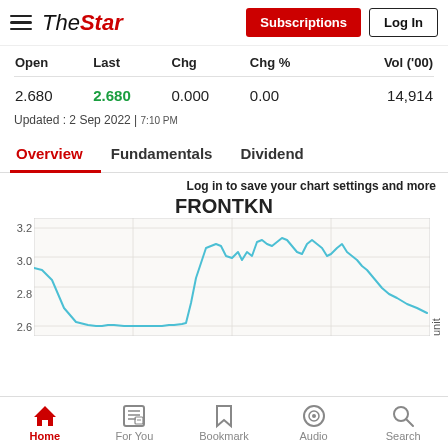The Star | Subscriptions | Log In
| Open | Last | Chg | Chg % | Vol ('00) |
| --- | --- | --- | --- | --- |
| 2.680 | 2.680 | 0.000 | 0.00 | 14,914 |
Updated : 2 Sep 2022 | 7:10 PM
Overview  Fundamentals  Dividend
Log in to save your chart settings and more
[Figure (continuous-plot): FRONTKN stock price line chart showing price movement between approximately 2.6 and 3.0 range, with y-axis labels 3.2, 3.0, 2.8, 2.6 and unit label on left side. The line is cyan/blue colored showing fluctuations over time.]
Home | For You | Bookmark | Audio | Search